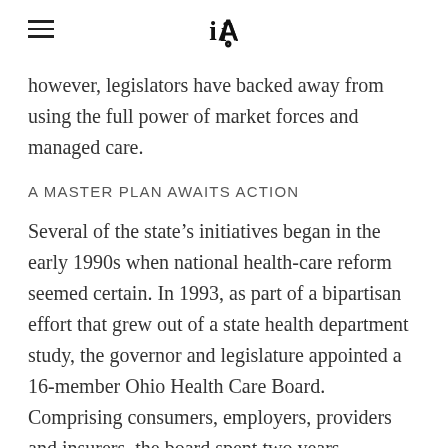iA
however, legislators have backed away from using the full power of market forces and managed care.
A MASTER PLAN AWAITS ACTION
Several of the state's initiatives began in the early 1990s when national health-care reform seemed certain. In 1993, as part of a bipartisan effort that grew out of a state health department study, the governor and legislature appointed a 16-member Ohio Health Care Board. Comprising consumers, employers, providers and insurers, the board spent two years analyzing Ohio's health-care financing and